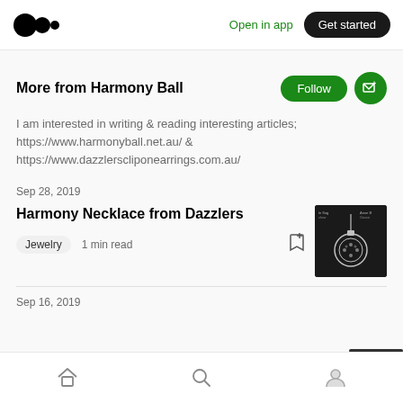Open in app | Get started
More from Harmony Ball
I am interested in writing & reading interesting articles; https://www.harmonyball.net.au/ & https://www.dazzlerscliponearrings.com.au/
Sep 28, 2019
Harmony Necklace from Dazzlers
Jewelry  1 min read
[Figure (photo): Thumbnail image of a silver harmony ball necklace pendant on dark background]
Sep 16, 2019
Home | Search | Profile